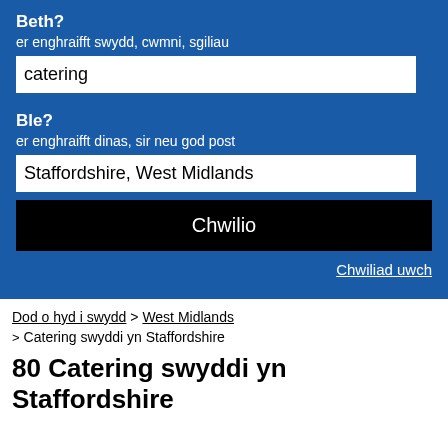Beth?
er enghraifft swydd, cwmni, sgiliau
catering
Ble?
er enghraifft dinas, sir neu god post
Staffordshire, West Midlands
Chwilio
Chwiliad uwch
Dod o hyd i swydd > West Midlands > Catering swyddi yn Staffordshire
80 Catering swyddi yn Staffordshire